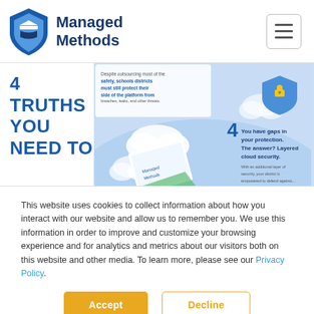[Figure (logo): Managed Methods logo with shield icon and company name in dark blue]
[Figure (infographic): Infographic snippet showing '4 Truths You Need To Know' about cloud security for school districts, with text about shared responsibility model and layered cloud security, on a light blue background with cloud icons and a shield]
This website uses cookies to collect information about how you interact with our website and allow us to remember you. We use this information in order to improve and customize your browsing experience and for analytics and metrics about our visitors both on this website and other media. To learn more, please see our Privacy Policy.
Accept
Decline